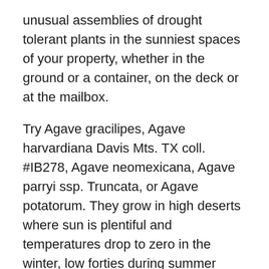unusual assemblies of drought tolerant plants in the sunniest spaces of your property, whether in the ground or a container, on the deck or at the mailbox.
Try Agave gracilipes, Agave harvardiana Davis Mts. TX coll. #IB278, Agave neomexicana, Agave parryi ssp. Truncata, or Agave potatorum. They grow in high deserts where sun is plentiful and temperatures drop to zero in the winter, low forties during summer nights.
You'll need leather gauntlets for handling. When agave spines injure, the distress continues — reddening, blistering and bruising for 2-3 weeks.